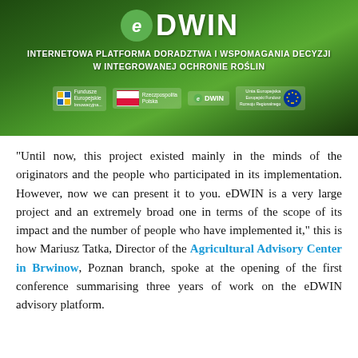[Figure (illustration): eDWIN platform banner with green gradient background, logo 'eDWIN' in white bold text with green circular e-logo, subtitle 'INTERNETOWA PLATFORMA DORADZTWA I WSPOMAGANIA DECYZJI W INTEGROWANEJ OCHRONIE ROŚLIN', and funding logos at the bottom (Fundusze Europejskie, Rzeczpospolita Polska, eDWIN, Unia Europejska).]
“Until now, this project existed mainly in the minds of the originators and the people who participated in its implementation. However, now we can present it to you. eDWIN is a very large project and an extremely broad one in terms of the scope of its impact and the number of people who have implemented it,” this is how Mariusz Tatka, Director of the Agricultural Advisory Center in Brwinow, Poznan branch, spoke at the opening of the first conference summarising three years of work on the eDWIN advisory platform.